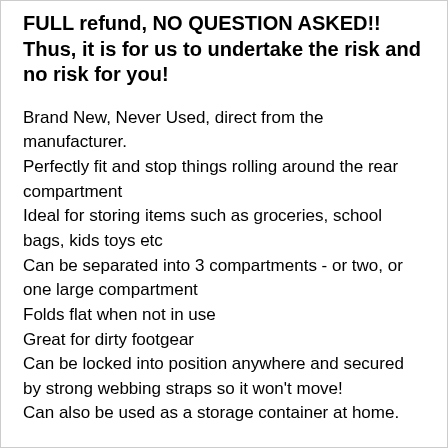FULL refund, NO QUESTION ASKED!! Thus, it is for us to undertake the risk and no risk for you!
Brand New, Never Used, direct from the manufacturer.
Perfectly fit and stop things rolling around the rear compartment
Ideal for storing items such as groceries, school bags, kids toys etc
Can be separated into 3 compartments - or two, or one large compartment
Folds flat when not in use
Great for dirty footgear
Can be locked into position anywhere and secured by strong webbing straps so it won't move!
Can also be used as a storage container at home.